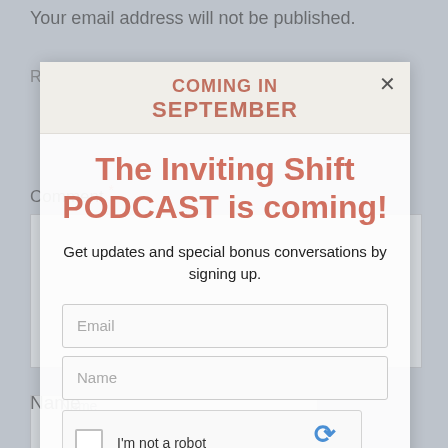Your email address will not be published.
Required fields are marked *
Comment *
[Figure (screenshot): Web page comment form with a modal popup overlay. Modal shows 'COMING IN SEPTEMBER' header in salmon/rose color, with title 'The Inviting Shift PODCAST is coming!' and subtitle 'Get updates and special bonus conversations by signing up.' Below are Email and Name input fields and a reCAPTCHA widget. Background shows a comment form with Name field and reCAPTCHA.]
Name
Name
I'm not a robot